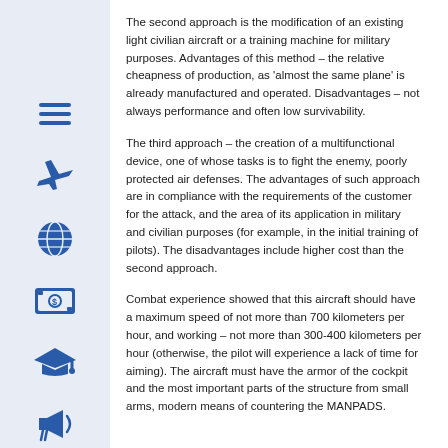The second approach is the modification of an existing light civilian aircraft or a training machine for military purposes. Advantages of this method – the relative cheapness of production, as 'almost the same plane' is already manufactured and operated. Disadvantages – not always performance and often low survivability.
The third approach – the creation of a multifunctional device, one of whose tasks is to fight the enemy, poorly protected air defenses. The advantages of such approach are in compliance with the requirements of the customer for the attack, and the area of its application in military and civilian purposes (for example, in the initial training of pilots). The disadvantages include higher cost than the second approach.
Combat experience showed that this aircraft should have a maximum speed of not more than 700 kilometers per hour, and working – not more than 300-400 kilometers per hour (otherwise, the pilot will experience a lack of time for aiming). The aircraft must have the armor of the cockpit and the most important parts of the structure from small arms, modern means of countering the MANPADS.